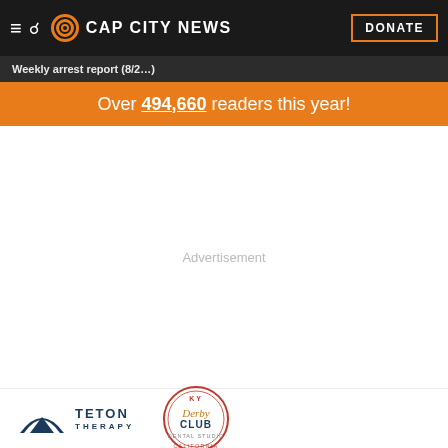CAP CITY NEWS — DONATE
Weekly arrest report (8/2…)
Over 494,660 readers this year!
Advertisement
[Figure (logo): Teton Therapy logo with mountain arc icon and text]
[Figure (logo): Derby Club dental studio circular badge logo]